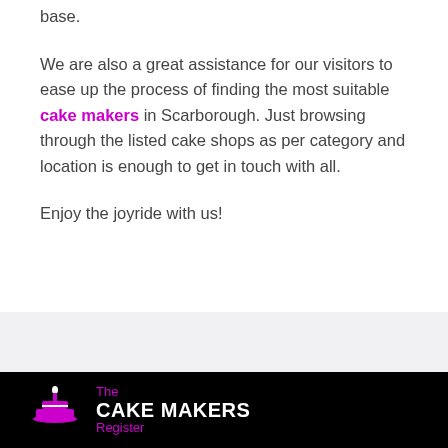base.
We are also a great assistance for our visitors to ease up the process of finding the most suitable cake makers in Scarborough. Just browsing through the listed cake shops as per category and location is enough to get in touch with all.
Enjoy the joyride with us!
[Figure (logo): The Cake Makers Register logo with purple cake icon and text on black background]